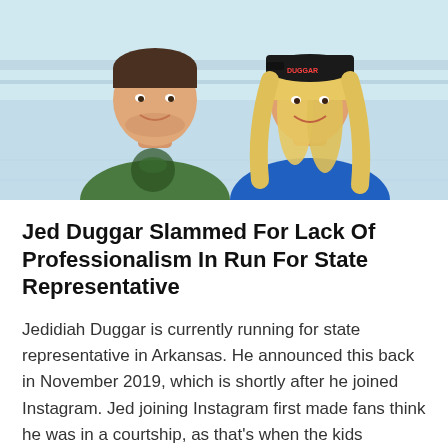[Figure (photo): Two people smiling at the camera in an ice rink setting. On the left is a young man wearing a green sweatshirt with a fish graphic. On the right is a young woman with long blonde hair wearing a blue shirt and a black cap that reads 'Duggar'.]
Jed Duggar Slammed For Lack Of Professionalism In Run For State Representative
Jedidiah Duggar is currently running for state representative in Arkansas. He announced this back in November 2019, which is shortly after he joined Instagram. Jed joining Instagram first made fans think he was in a courtship, as that's when the kids typically start using social media. But, as it turns out, he's using it mostly